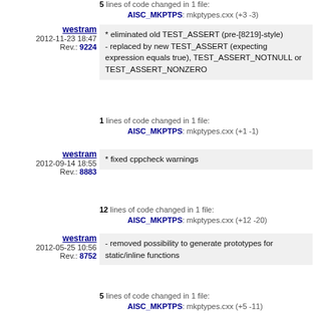5 lines of code changed in 1 file: AISC_MKPTPS: mkptypes.cxx (+3 -3)
westram
2012-11-23 18:47
Rev.: 9224
* eliminated old TEST_ASSERT (pre-[8219]-style)
- replaced by new TEST_ASSERT (expecting expression equals true), TEST_ASSERT_NOTNULL or TEST_ASSERT_NONZERO
1 lines of code changed in 1 file: AISC_MKPTPS: mkptypes.cxx (+1 -1)
westram
2012-09-14 18:55
Rev.: 8883
* fixed cppcheck warnings
12 lines of code changed in 1 file: AISC_MKPTPS: mkptypes.cxx (+12 -20)
westram
2012-05-25 10:56
Rev.: 8752
- removed possibility to generate prototypes for static/inline functions
5 lines of code changed in 1 file: AISC_MKPTPS: mkptypes.cxx (+5 -11)